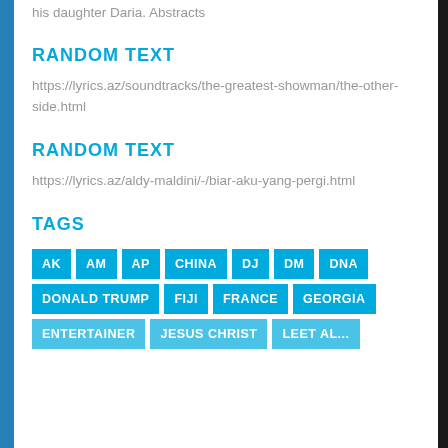his daughter Daria. Abstracts
RANDOM TEXT
https://lyrics.az/soundtracks/the-greatest-showman/the-other-side.html
RANDOM TEXT
https://lyrics.az/aldy-maldini/-/biar-aku-yang-pergi.html
TAGS
AK
AM
AP
CHINA
DJ
DM
DNA
DONALD TRUMP
FIJI
FRANCE
GEORGIA